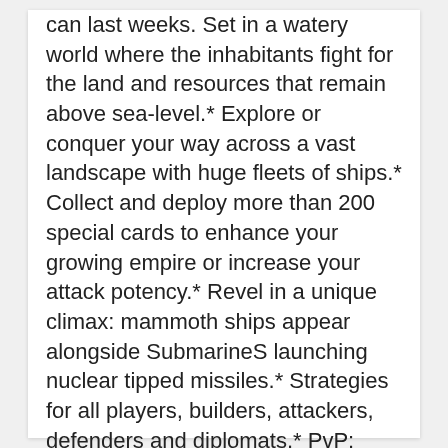can last weeks. Set in a watery world where the inhabitants fight for the land and resources that remain above sea-level.* Explore or conquer your way across a vast landscape with huge fleets of ships.* Collect and deploy more than 200 special cards to enhance your growing empire or increase your attack potency.* Revel in a unique climax: mammoth ships appear alongside SubmarineS launching nuclear tipped missiles.* Strategies for all players, builders, attackers, defenders and diplomats.* PvP: compete against hundreds of other players on the same map!* 23 upgradable buildings and 8 upgradable sea and air units.* Persistent game world: the game is on even when you're not.